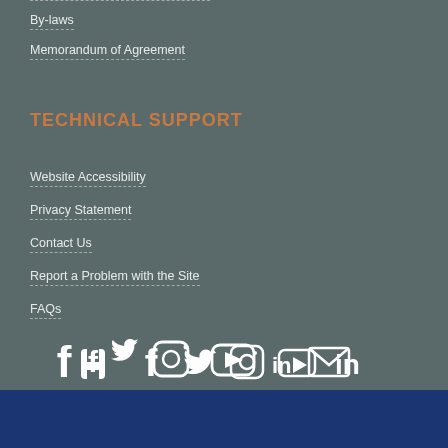By-laws
Memorandum of Agreement
TECHNICAL SUPPORT
Website Accessibility
Privacy Statement
Contact Us
Report a Problem with the Site
FAQs
[Figure (infographic): Social media icons row: Facebook, Twitter, Instagram, YouTube, LinkedIn, Email]